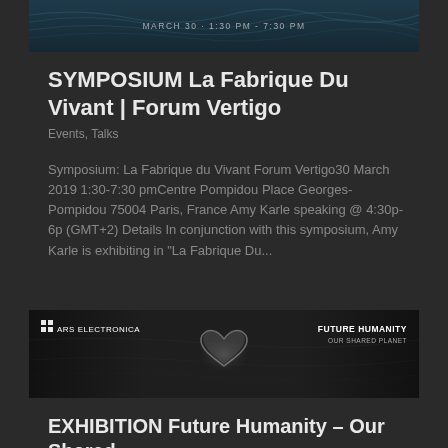[Figure (photo): Dark teal banner with wave pattern and text MARCH 30 · 1:30 PM - 7:30 PM]
SYMPOSIUM La Fabrique Du Vivant | Forum Vertigo
Events, Talks
Symposium: La Fabrique du Vivant Forum Vertigo30 March 2019 1:30-7:30 pmCentre Pompidou Place Georges-Pompidou 75004 Paris, France Amy Karle speaking @ 4:30p-6p (GMT+2) Details In conjunction with this symposium, Amy Karle is exhibiting in "La Fabrique Du...
[Figure (photo): Dark banner showing Ars Electronica logo on left, a glowing heart sculpture in center, and Future Humanity Our Shared Planet text on right]
EXHIBITION Future Humanity – Our Shared